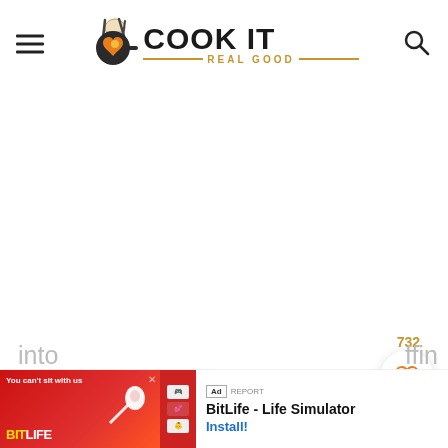COOK IT REAL GOOD
Cut the puff pastry sheet into 9 even squares. Press each square of puff pastry into muffin pan, joint
[Figure (screenshot): Advertisement banner for BitLife - Life Simulator app with red background and install button]